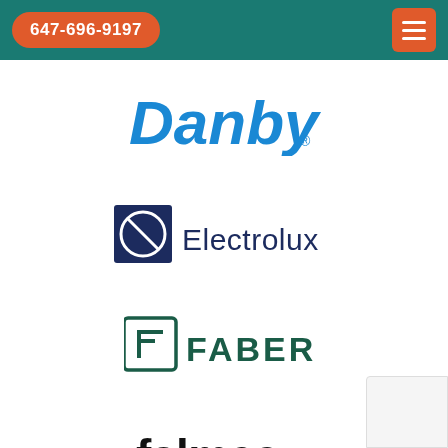647-696-9197
[Figure (logo): Danby brand logo in blue italic bold text]
[Figure (logo): Electrolux brand logo with circular split icon and dark navy text]
[Figure (logo): FABER brand logo with stylized F icon in dark green and bold uppercase text]
[Figure (logo): falmec brand logo in lowercase bold black text]